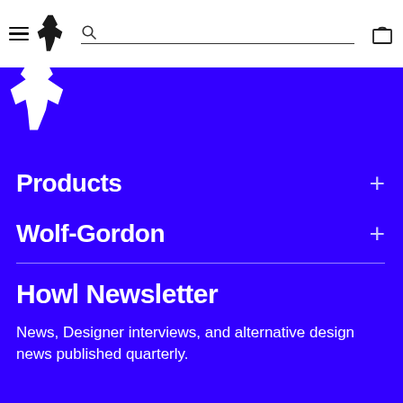Navigation bar with hamburger menu, wolf logo, search bar, and cart icon
[Figure (logo): Wolf silhouette logo (large, white) on blue background]
Products +
Wolf-Gordon +
Howl Newsletter
News, Designer interviews, and alternative design news published quarterly.